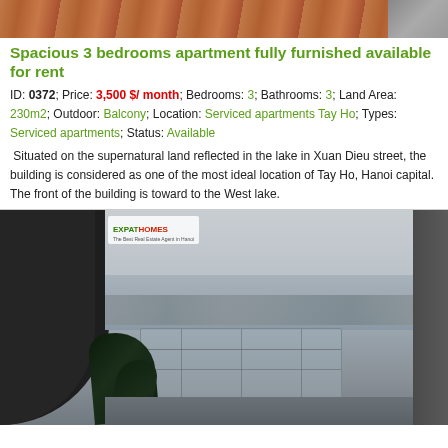[Figure (photo): Top portion of an apartment interior or exterior photo, cropped — warm brown/terracotta tones]
Spacious 3 bedrooms apartment fully furnished available for rent
ID: 0372; Price: 3,500 $/ month; Bedrooms: 3; Bathrooms: 3; Land Area: 230m2; Outdoor: Balcony; Location: Serviced apartments Tay Ho; Types: Serviced apartments; Status: Available
Situated on the supernatural land reflected in the lake in Xuan Dieu street, the building is considered as one of the most ideal location of Tay Ho, Hanoi capital. The front of the building is toward to the West lake.
[Figure (photo): View from a balcony overlooking West Lake (Tay Ho) in Hanoi. The photo shows a dark ceiling overhang/archway on the left, a lake view with city buildings in the background, decorative iron railings, and tropical palm foliage at the bottom left. A real estate agency logo is visible in the upper left area of the photo.]